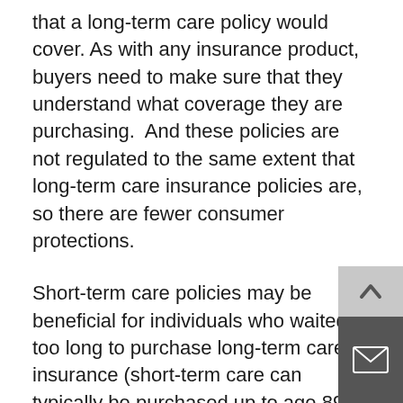that a long-term care policy would cover. As with any insurance product, buyers need to make sure that they understand what coverage they are purchasing.  And these policies are not regulated to the same extent that long-term care insurance policies are, so there are fewer consumer protections.
Short-term care policies may be beneficial for individuals who waited too long to purchase long-term care insurance (short-term care can typically be purchased up to age 89). They can also help fill gaps in Medicare coverage or cover the deductible period before long-term care insurance begins paying. The policies may also be appealing to single women because there is no price difference for women and men, as there is for long-term care insurance.